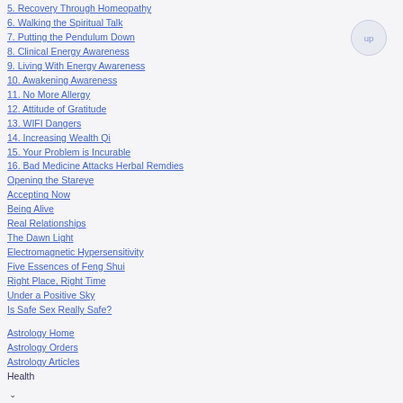5. Recovery Through Homeopathy
6. Walking the Spiritual Talk
7. Putting the Pendulum Down
8. Clinical Energy Awareness
9. Living With Energy Awareness
10. Awakening Awareness
11. No More Allergy
12. Attitude of Gratitude
13. WIFI Dangers
14. Increasing Wealth Qi
15. Your Problem is Incurable
16. Bad Medicine Attacks Herbal Remdies
Opening the Stareye
Accepting Now
Being Alive
Real Relationships
The Dawn Light
Electromagnetic Hypersensitivity
Five Essences of Feng Shui
Right Place, Right Time
Under a Positive Sky
Is Safe Sex Really Safe?
Astrology Home
Astrology Orders
Astrology Articles
Health